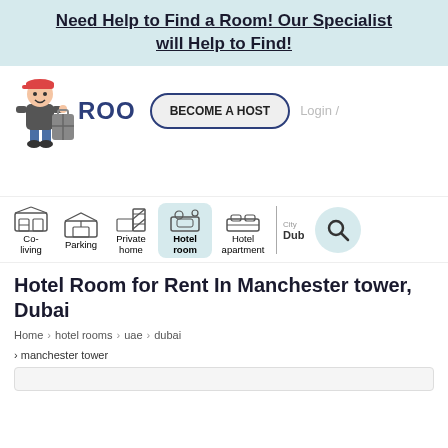Need Help to Find a Room! Our Specialist will Help to Find!
[Figure (illustration): Mascot character with luggage, logo text ROO..., BECOME A HOST button with dark blue border, Login/ text]
[Figure (infographic): Filter bar with icons: Co-living (bunk bed), Parking (garage), Private home (stairs), Hotel room (sofa, highlighted in light blue), Hotel apartment (bed), City field showing Dub, and search circle button]
Hotel Room for Rent In Manchester tower, Dubai
Home > hotel rooms > uae > dubai
> manchester tower